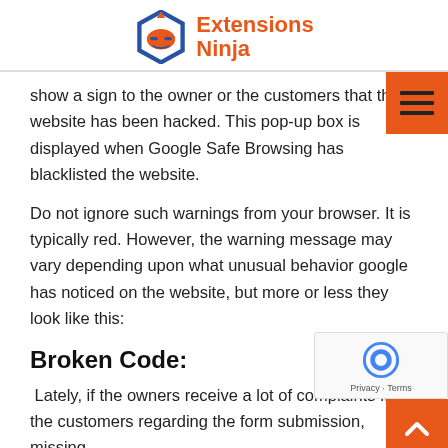[Figure (logo): Extensions Ninja logo — hexagonal ninja icon in blue/orange with 'Extensions Ninja' text in orange]
show a sign to the owner or the customers that the website has been hacked. This pop-up box is displayed when Google Safe Browsing has blacklisted the website.
Do not ignore such warnings from your browser. It is typically red. However, the warning message may vary depending upon what unusual behavior google has noticed on the website, but more or less they look like this:
Broken Code:
Lately, if the owners receive a lot of complaints from the customers regarding the form submission, missing